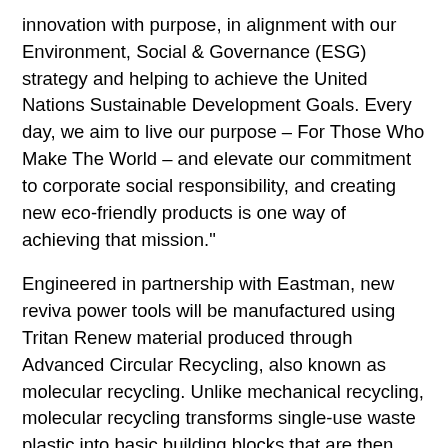innovation with purpose, in alignment with our Environment, Social & Governance (ESG) strategy and helping to achieve the United Nations Sustainable Development Goals. Every day, we aim to live our purpose – For Those Who Make The World – and elevate our commitment to corporate social responsibility, and creating new eco-friendly products is one way of achieving that mission."
Engineered in partnership with Eastman, new reviva power tools will be manufactured using Tritan Renew material produced through Advanced Circular Recycling, also known as molecular recycling. Unlike mechanical recycling, molecular recycling transforms single-use waste plastic into basic building blocks that are then used to make durable, high-performance materials. This process reduces the use of fossil-based resources and lowers greenhouse gas emissions while providing the performance of virgin plastic materials and environmental benefits of 50% recycled content. In addition to sustainably engineered material in this new product line, reviva packaging will be frustration-free and 100% recyclable. Stanley Black & Decker is also creating and implementing programs for battery and end-of-